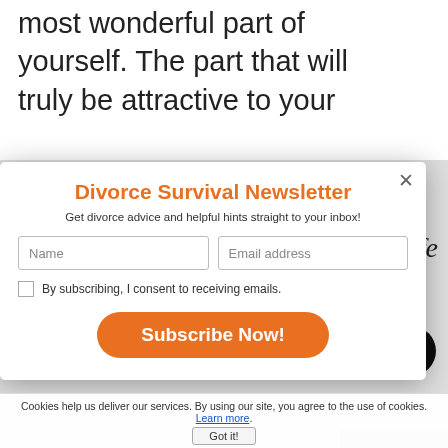most wonderful part of yourself. The part that will truly be attractive to your
[Figure (screenshot): Newsletter signup modal dialog with title 'Divorce Survival Newsletter', subtitle, name and email fields, consent checkbox, and Subscribe Now button]
WomansDivorce.com All Rights Reserved.
Cookies help us deliver our services. By using our site, you agree to the use of cookies. Learn more. Got it!